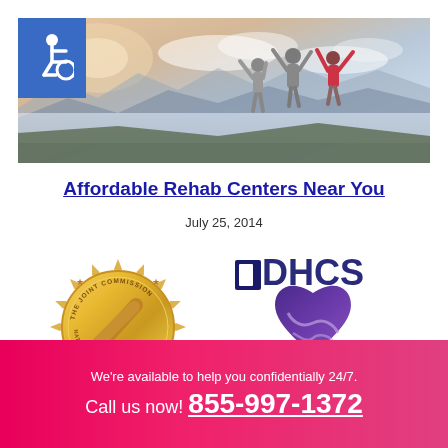[Figure (photo): Hero banner image showing three people with arms raised on a mountain top against a sky backdrop, with an accessibility wheelchair icon in the top-left corner on a blue background]
Affordable Rehab Centers Near You
July 25, 2014
[Figure (logo): The Joint Commission National Quality Approval gold seal medallion logo]
[Figure (logo): DHCS - California Department of HealthCareServices logo with purple heart design]
We're available to help you confidentially 24/7.
Call us now! 855-997-1372